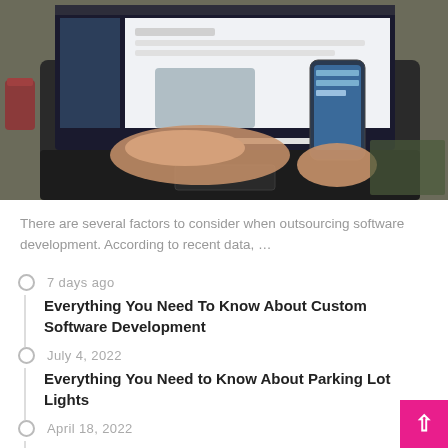[Figure (photo): Person working at laptop and holding a smartphone, desk scene with coffee cup and notebook visible]
There are several factors to consider when outsourcing software development. According to recent data, ...
7 days ago
Everything You Need To Know About Custom Software Development
July 4, 2022
Everything You Need to Know About Parking Lot Lights
April 18, 2022